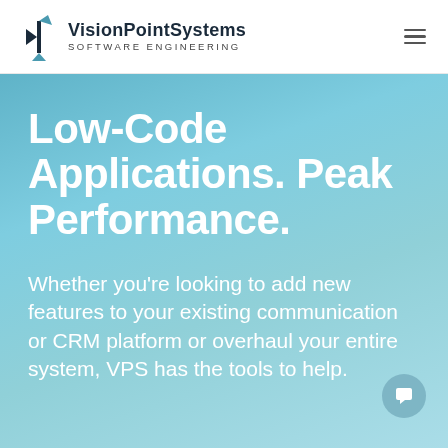VisionPointSystems SOFTWARE ENGINEERING
Low-Code Applications. Peak Performance.
Whether you're looking to add new features to your existing communication or CRM platform or overhaul your entire system, VPS has the tools to help.